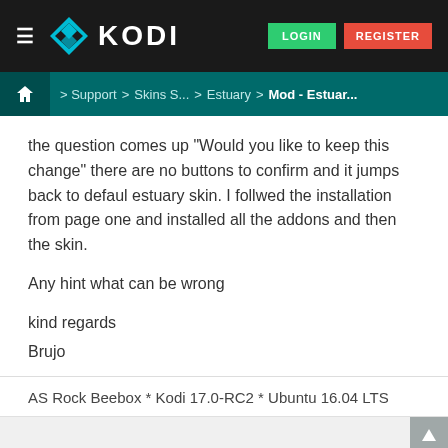KODI — LOGIN | REGISTER
Home > Support > Skins S... > Estuary > Mod - Estuar...
the question comes up "Would you like to keep this change" there are no buttons to confirm and it jumps back to defaul estuary skin. I follwed the installation from page one and installed all the addons and then the skin.
Any hint what can be wrong
kind regards
Brujo
AS Rock Beebox * Kodi 17.0-RC2 * Ubuntu 16.04 LTS
Find | Reply